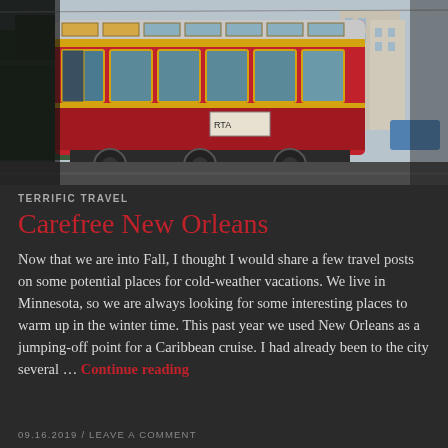[Figure (photo): A red vintage streetcar/tram numbered 2001 on a New Orleans street, with yellow trim windows, parked along a city block with buildings and cars visible in the background.]
TERRIFIC TRAVEL
Carefree New Orleans
Now that we are into Fall, I thought I would share a few travel posts on some potential places for cold-weather vacations. We live in Minnesota, so we are always looking for some interesting places to warm up in the winter time. This past year we used New Orleans as a jumping-off point for a Caribbean cruise. I had already been to the city several … Continue reading
09.16.2019 / LEAVE A COMMENT